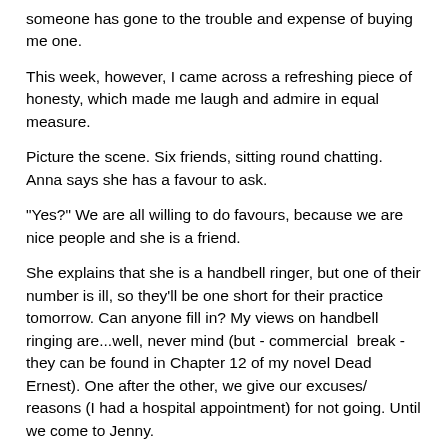someone has gone to the trouble and expense of buying me one.
This week, however, I came across a refreshing piece of honesty, which made me laugh and admire in equal measure.
Picture the scene. Six friends, sitting round chatting. Anna says she has a favour to ask.
"Yes?" We are all willing to do favours, because we are nice people and she is a friend.
She explains that she is a handbell ringer, but one of their number is ill, so they'll be one short for their practice tomorrow. Can anyone fill in? My views on handbell ringing are...well, never mind (but - commercial  break - they can be found in Chapter 12 of my novel Dead Ernest). One after the other, we give our excuses/ reasons (I had a hospital appointment) for not going. Until we come to Jenny.
Jenny smiles and says that unfortunately she won't be able